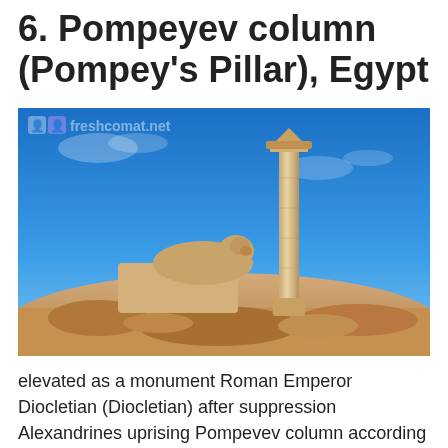6. Pompeyev column (Pompey's Pillar), Egypt
[Figure (photo): Photograph of Pompey's Pillar (a tall ancient Roman column with Corinthian capital) and a sphinx statue on a stone base, set against a bright blue sky with sandy rocky ground in the foreground. A watermark 'freshcomat.net' with small icons is visible in the upper left.]
elevated as a monument Roman Emperor Diocletian (Diocletian) after suppression Alexandrines uprising Pompevev column according erroneous theory, was